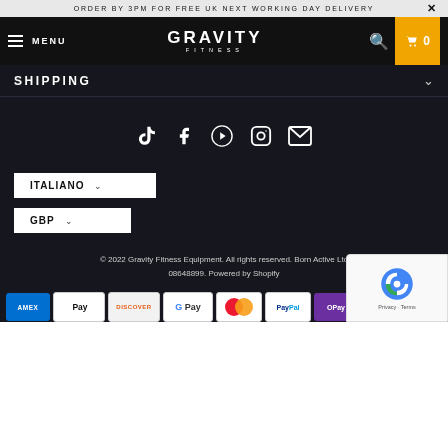ORDER BY 3PM FOR FREE UK NEXT WORKING DAY DELIVERY
GRAVITY FITNESS — MENU — 0
SHIPPING
[Figure (infographic): Social media icons: TikTok, Facebook, YouTube, Instagram, Email]
ITALIANO
GBP
© 2022 Gravity Fitness Equipment. All rights reserved. Born Active Ltd 08648899. Powered by Shopify
[Figure (infographic): Payment method badges: American Express, Apple Pay, Discover, Google Pay, Mastercard, PayPal, OPay, Visa]